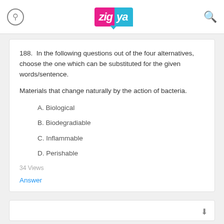zigya
188.  In the following questions out of the four alternatives, choose the one which can be substituted for the given words/sentence.
Materials that change naturally by the action of bacteria.
A. Biological
B. Biodegradiable
C. Inflammable
D. Perishable
34 Views
Answer